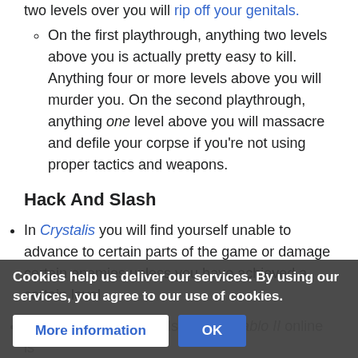two levels over you will rip off your genitals.
On the first playthrough, anything two levels above you is actually pretty easy to kill. Anything four or more levels above you will murder you. On the second playthrough, anything one level above you will massacre and defile your corpse if you're not using proper tactics and weapons.
Hack And Slash
In Crystalis you will find yourself unable to advance to certain parts of the game or damage certain enemies unless you have achieved a certain level
The Diablo series revels in this. Diablo II online is ...
Cookies help us deliver our services. By using our services, you agree to our use of cookies.